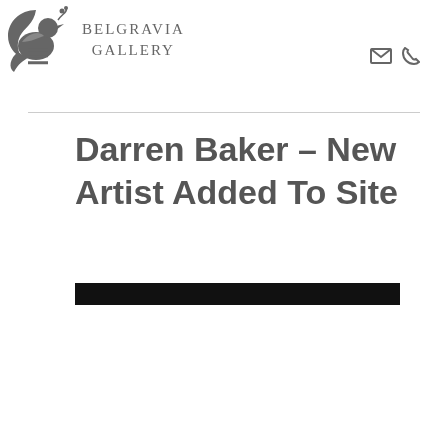Belgravia Gallery
Darren Baker – New Artist Added To Site
[Figure (photo): Dark/black rectangular image, partially visible, appears to be a cropped photo]